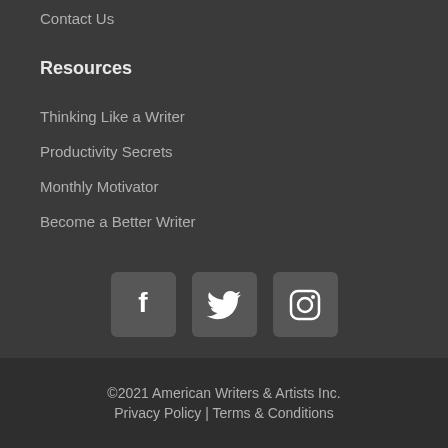Contact Us
Resources
Thinking Like a Writer
Productivity Secrets
Monthly Motivator
Become a Better Writer
[Figure (illustration): Three social media icons: Facebook, Twitter, Instagram]
©2021 American Writers & Artists Inc. Privacy Policy | Terms & Conditions